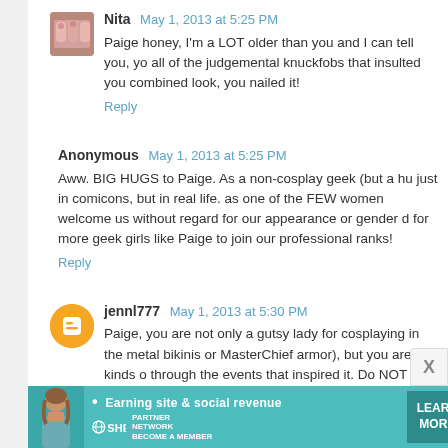Nita  May 1, 2013 at 5:25 PM
Paige honey, I'm a LOT older than you and I can tell you, yo all of the judgemental knuckfobs that insulted you combined look, you nailed it!
Reply
Anonymous  May 1, 2013 at 5:25 PM
Aww. BIG HUGS to Paige. As a non-cosplay geek (but a hu just in comicons, but in real life. as one of the FEW women welcome us without regard for our appearance or gender d for more geek girls like Paige to join our professional ranks!
Reply
jennl777  May 1, 2013 at 5:30 PM
Paige, you are not only a gutsy lady for cosplaying in the metal bikinis or MasterChief armor), but you are all kinds o through the events that inspired it. Do NOT let those jerks d
Reply
[Figure (infographic): Advertisement banner for SHE Partner Network with tagline 'Earning site & social revenue', SHE logo, globe icon, woman photo, and 'Learn More' button on teal background.]